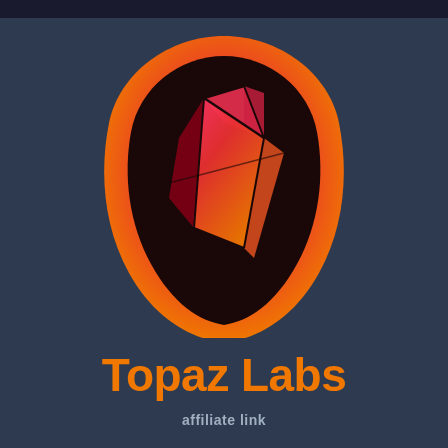[Figure (logo): Topaz Labs logo: a guitar-pick/shield shape with red-to-orange gradient border, dark interior containing a geometric faceted gem/crystal shape with red-orange gradient facets and dark outline lines]
Topaz Labs
affiliate link